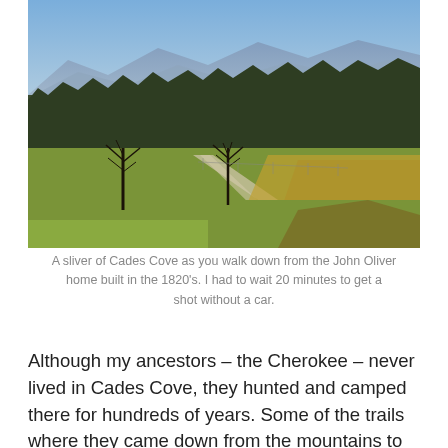[Figure (photo): Landscape photo of Cades Cove showing a green and golden meadow with bare trees, a path leading into the distance, forested hills in the mid-ground, and blue mountains under a clear sky in the background.]
A sliver of Cades Cove as you walk down from the John Oliver home built in the 1820's. I had to wait 20 minutes to get a shot without a car.
Although my ancestors – the Cherokee – never lived in Cades Cove, they hunted and camped there for hundreds of years. Some of the trails where they came down from the mountains to hunt deer, elk, bison and bear, still exist. There are extremely few stories of encounters between